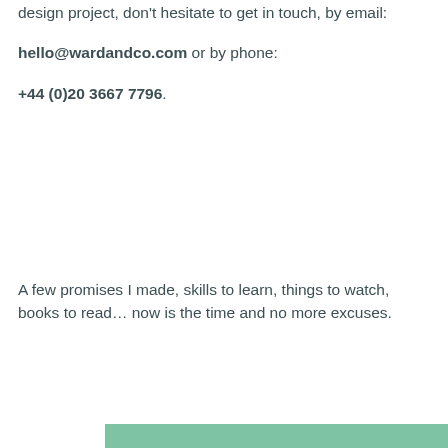design project, don't hesitate to get in touch, by email:
hello@wardandco.com or by phone:
+44 (0)20 3667 7796.
A few promises I made, skills to learn, things to watch, books to read... now is the time and no more excuses.
[Figure (other): Green rectangular bar at bottom of page]